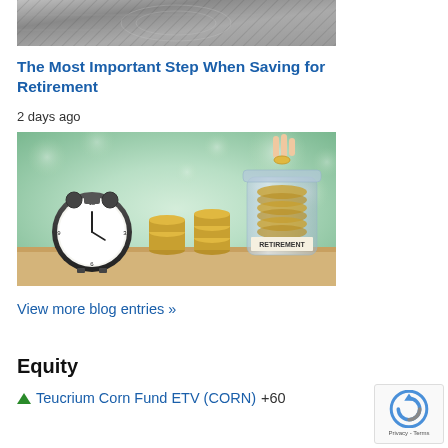[Figure (photo): Partial top image showing what appears to be currency/money with grey tones, cropped at top of page]
The Most Important Step When Saving for Retirement
2 days ago
[Figure (photo): Photo of an alarm clock beside stacked coins and a glass jar labeled 'RETIREMENT' with a hand dropping a coin in, set against a green bokeh background]
View more blog entries »
Equity
▲ Teucrium Corn Fund ETV (CORN) +60